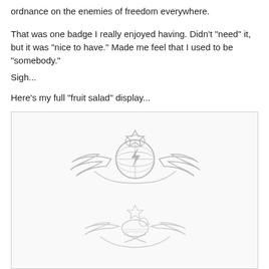ordnance on the enemies of freedom everywhere.
That was one badge I really enjoyed having. Didn't "need" it, but it was "nice to have." Made me feel that I used to be "somebody."
Sigh...
Here's my full "fruit salad" display...
[Figure (illustration): Two military badges displayed in a framed box. The top badge is a large Master-level badge featuring a globe with wings and a star above, rendered in silver/gray. The bottom badge is another military badge with wings, an eagle, crossed elements, and a star above, also in silver/gray tones.]